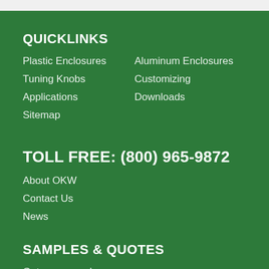QUICKLINKS
Plastic Enclosures
Aluminum Enclosures
Tuning Knobs
Customizing
Applications
Downloads
Sitemap
TOLL FREE: (800) 965-9872
About OKW
Contact Us
News
SAMPLES & QUOTES
Get your samples
Simply click on the basket symbol to add items to your personal